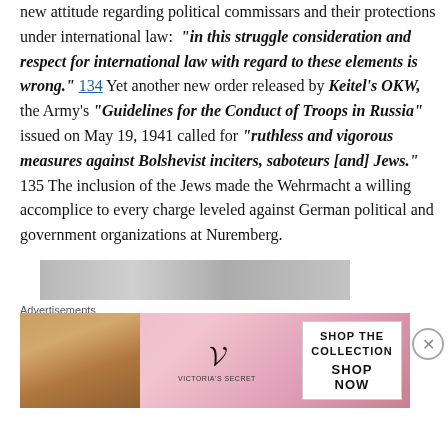new attitude regarding political commissars and their protections under international law: "in this struggle consideration and respect for international law with regard to these elements is wrong." 134 Yet another new order released by Keitel's OKW, the Army's "Guidelines for the Conduct of Troops in Russia" issued on May 19, 1941 called for "ruthless and vigorous measures against Bolshevist inciters, saboteurs [and] Jews." 135 The inclusion of the Jews made the Wehrmacht a willing accomplice to every charge leveled against German political and government organizations at Nuremberg.
[Figure (photo): Partial grayscale photograph visible at bottom of article content]
Advertisements
[Figure (photo): Victoria's Secret advertisement banner with model photo, VS logo, and 'SHOP THE COLLECTION / SHOP NOW' text]